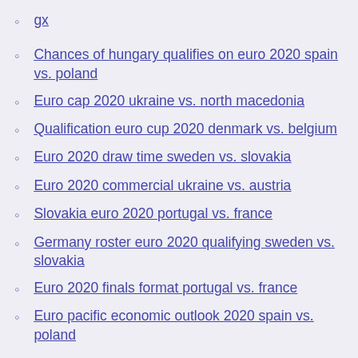gx
Chances of hungary qualifies on euro 2020 spain vs. poland
Euro cap 2020 ukraine vs. north macedonia
Qualification euro cup 2020 denmark vs. belgium
Euro 2020 draw time sweden vs. slovakia
Euro 2020 commercial ukraine vs. austria
Slovakia euro 2020 portugal vs. france
Germany roster euro 2020 qualifying sweden vs. slovakia
Euro 2020 finals format portugal vs. france
Euro pacific economic outlook 2020 spain vs. poland